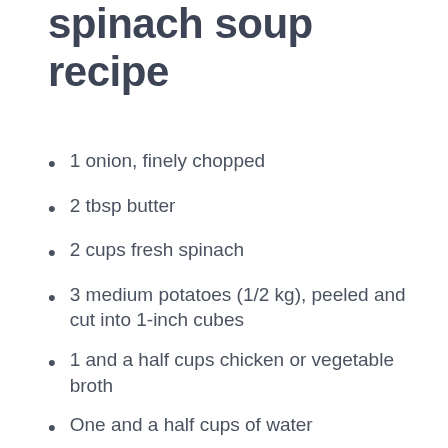spinach soup recipe
1 onion, finely chopped
2 tbsp butter
2 cups fresh spinach
3 medium potatoes (1/2 kg), peeled and cut into 1-inch cubes
1 and a half cups chicken or vegetable broth
One and a half cups of water